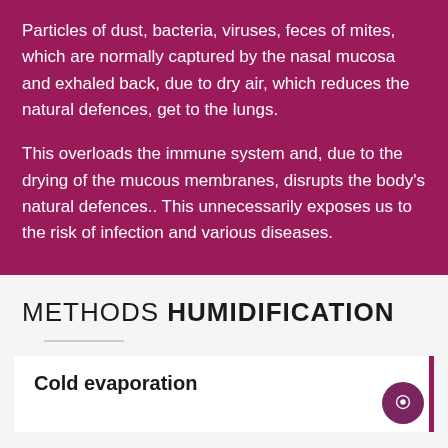Particles of dust, bacteria, viruses, feces of mites, which are normally captured by the nasal mucosa and exhaled back, due to dry air, which reduces the natural defences, get to the lungs.
This overloads the immune system and, due to the drying of the mucous membranes, disrupts the body's natural defences.. This unnecessarily exposes us to the risk of infection and various diseases.
METHODS HUMIDIFICATION
Cold evaporation